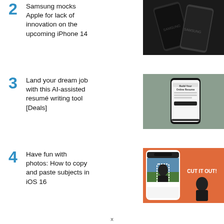2 Samsung mocks Apple for lack of innovation on the upcoming iPhone 14
[Figure (photo): Dark Samsung smartphones on a black background]
3 Land your dream job with this AI-assisted resumé writing tool [Deals]
[Figure (photo): Hand holding a smartphone showing a Build Your Online Resume webpage]
4 Have fun with photos: How to copy and paste subjects in iOS 16
[Figure (photo): Phone screenshot on orange background showing CUT IT OUT photo feature with a man's face]
x